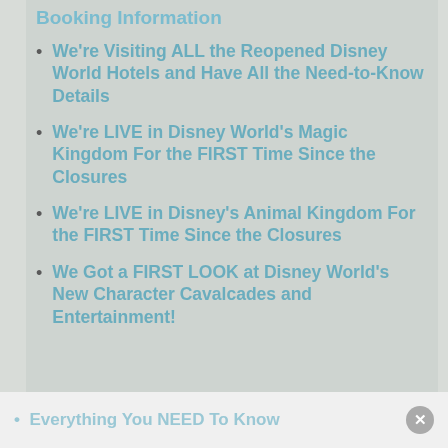Booking Information
We're Visiting ALL the Reopened Disney World Hotels and Have All the Need-to-Know Details
We're LIVE in Disney World's Magic Kingdom For the FIRST Time Since the Closures
We're LIVE in Disney's Animal Kingdom For the FIRST Time Since the Closures
We Got a FIRST LOOK at Disney World's New Character Cavalcades and Entertainment!
Everything You NEED To Know